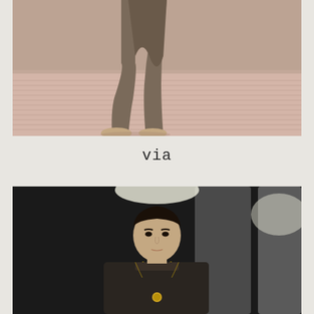[Figure (photo): Fashion runway photo showing lower body of model wearing draped grey/brown loose pants and tan loafers, walking on a pink-hued runway with script text pattern]
via
[Figure (photo): Fashion runway photo showing male model with dark hair wearing a dark embroidered bandhgala/sherwani jacket with gold buttons, against a dark background with stage lighting]